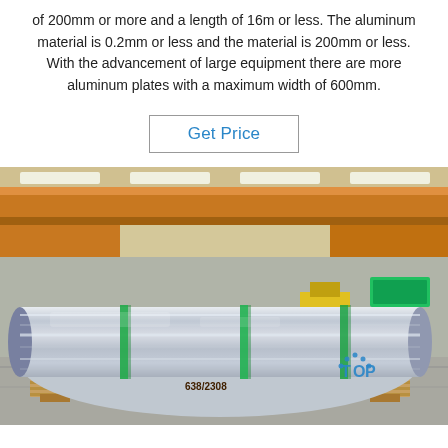of 200mm or more and a length of 16m or less. The aluminum material is 0.2mm or less and the material is 200mm or less. With the advancement of large equipment there are more aluminum plates with a maximum width of 600mm.
Get Price
[Figure (photo): Large roll of aluminum coil wrapped with green straps sitting on a wooden pallet inside an industrial factory/warehouse. The roll has a shiny metallic silver surface. Number 638/2308 is written on the pallet. A TOP logo watermark appears in the bottom right corner. The factory has an orange overhead crane and fluorescent lighting.]